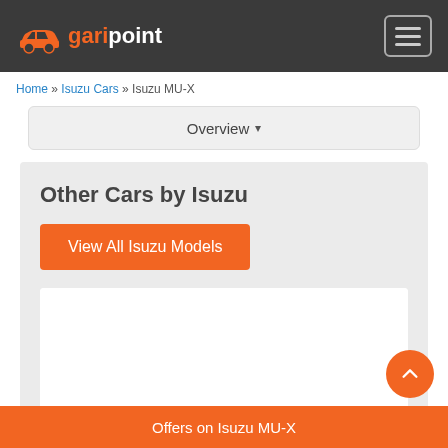garipoint
Home » Isuzu Cars » Isuzu MU-X
Overview ▾
Other Cars by Isuzu
View All Isuzu Models
Isuzu D-Max V-Cross
₹14.32 Lakh - 14.32 Lakh
Offers on Isuzu MU-X